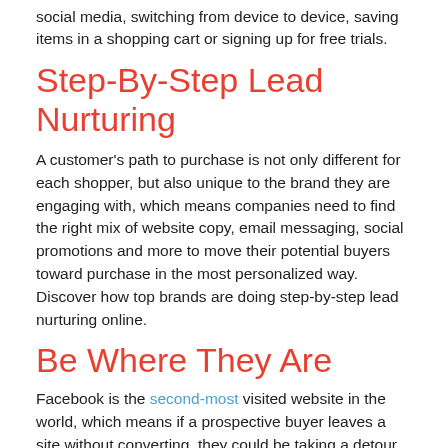social media, switching from device to device, saving items in a shopping cart or signing up for free trials.
Step-By-Step Lead Nurturing
A customer's path to purchase is not only different for each shopper, but also unique to the brand they are engaging with, which means companies need to find the right mix of website copy, email messaging, social promotions and more to move their potential buyers toward purchase in the most personalized way. Discover how top brands are doing step-by-step lead nurturing online.
Be Where They Are
Facebook is the second-most visited website in the world, which means if a prospective buyer leaves a site without converting, they could be taking a detour to Facebook.com or their Facebook app, before continuing